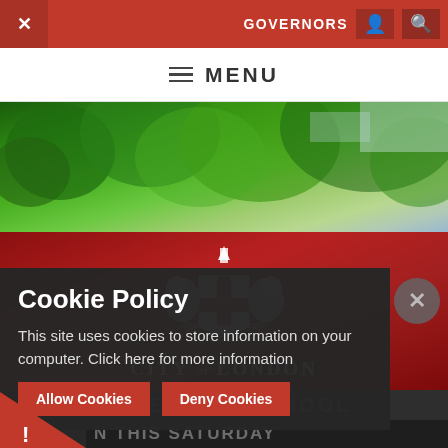GOVERNORS  [user icon]  [search icon]
≡ MENU
[Figure (photo): Green tree canopy background photo strip]
[Figure (logo): City of London coat of arms with motto DOMINE DIRIGE NOS and text CITY of LONDON]
FREEMEN'S SCHOOL
Cookie Policy
This site uses cookies to store information on your computer. Click here for more information
Allow Cookies   Deny Cookies